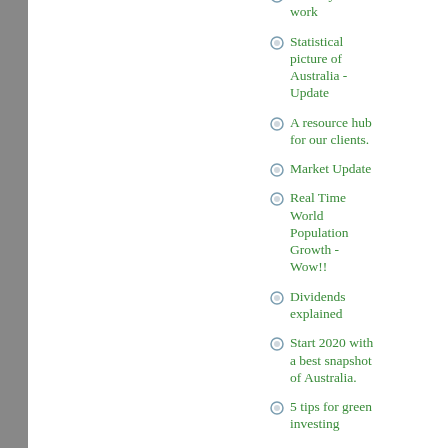Life beyond work
Statistical picture of Australia - Update
A resource hub for our clients.
Market Update
Real Time World Population Growth - Wow!!
Dividends explained
Start 2020 with a best snapshot of Australia.
5 tips for green investing
Make Australians save again